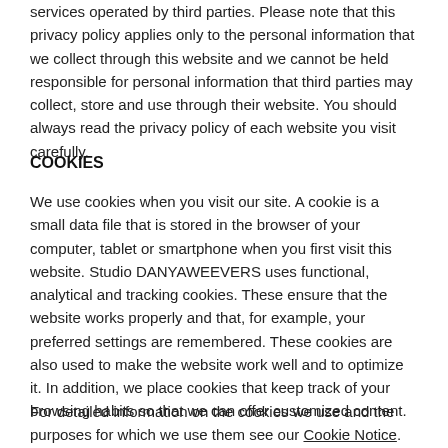This website contains links to other websites and social media services operated by third parties. Please note that this privacy policy applies only to the personal information that we collect through this website and we cannot be held responsible for personal information that third parties may collect, store and use through their website. You should always read the privacy policy of each website you visit carefully.
COOKIES
We use cookies when you visit our site. A cookie is a small data file that is stored in the browser of your computer, tablet or smartphone when you first visit this website. Studio DANYAWEEVERS uses functional, analytical and tracking cookies. These ensure that the website works properly and that, for example, your preferred settings are remembered. These cookies are also used to make the website work well and to optimize it. In addition, we place cookies that keep track of your browsing habits so that we can offer customized content.
For detailed information on the cookies we use and the purposes for which we use them see our Cookie Notice.